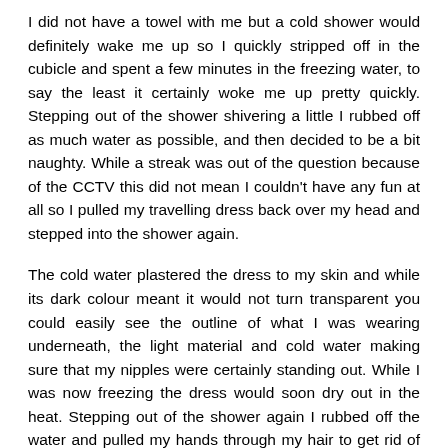I did not have a towel with me but a cold shower would definitely wake me up so I quickly stripped off in the cubicle and spent a few minutes in the freezing water, to say the least it certainly woke me up pretty quickly. Stepping out of the shower shivering a little I rubbed off as much water as possible, and then decided to be a bit naughty. While a streak was out of the question because of the CCTV this did not mean I couldn't have any fun at all so I pulled my travelling dress back over my head and stepped into the shower again.
The cold water plastered the dress to my skin and while its dark colour meant it would not turn transparent you could easily see the outline of what I was wearing underneath, the light material and cold water making sure that my nipples were certainly standing out. While I was now freezing the dress would soon dry out in the heat. Stepping out of the shower again I rubbed off the water and pulled my hands through my hair to get rid of the excess water. After putting my underwear